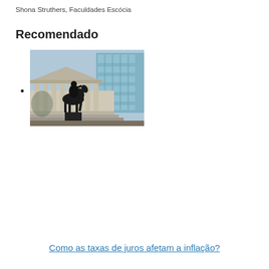Shona Struthers, Faculdades Escócia
Recomendado
[thumbnail image of a building with equestrian statue]
[Figure (photo): Thumbnail photo of a neoclassical building with columns and an equestrian statue in front, with a modern glass building in the background.]
Como as taxas de juros afetam a inflação?